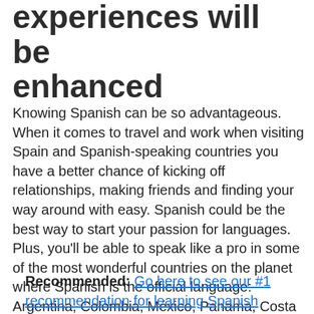experiences will be enhanced
Knowing Spanish can be so advantageous. When it comes to travel and work when visiting Spain and Spanish-speaking countries you have a better chance of kicking off relationships, making friends and finding your way around with easy. Spanish could be the best way to start your passion for languages. Plus, you’ll be able to speak like a pro in some of the most wonderful countries on the planet where Spanish is the official language: Argentina, Colombia, México, Panama, Costa Rica.
Recommended: Go here to see our #1 recommendation for learning Spanish